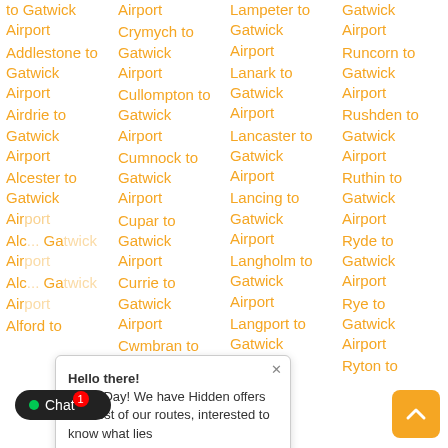to Gatwick Airport
Addlestone to Gatwick Airport
Airdrie to Gatwick Airport
Alcester to Gatwick Airport
Alc... Gatwick Airport
Alc... Gatwick Airport
Alford to
Airport
Crymych to Gatwick Airport
Cullompton to Gatwick Airport
Cumnock to Gatwick Airport
Cupar to Gatwick Airport
Currie to Gatwick Airport
Cwmbran to Gatwick
Lampeter to Gatwick Airport
Lanark to Gatwick Airport
Lancaster to Gatwick Airport
Lancing to Gatwick Airport
Langholm to Gatwick Airport
Langport to Gatwick Airport
Gatwick Airport
Runcorn to Gatwick Airport
Rushden to Gatwick Airport
Ruthin to Gatwick Airport
Ryde to Gatwick Airport
Rye to Gatwick Airport
Ryton to